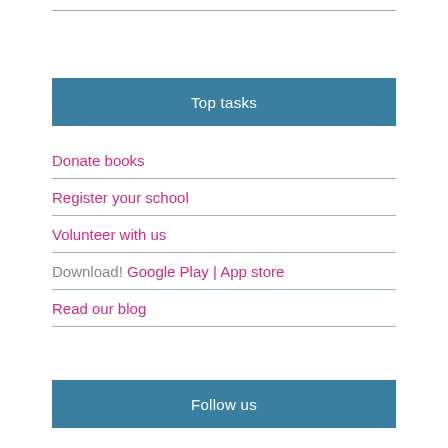Top tasks
Donate books
Register your school
Volunteer with us
Download! Google Play | App store
Read our blog
Follow us